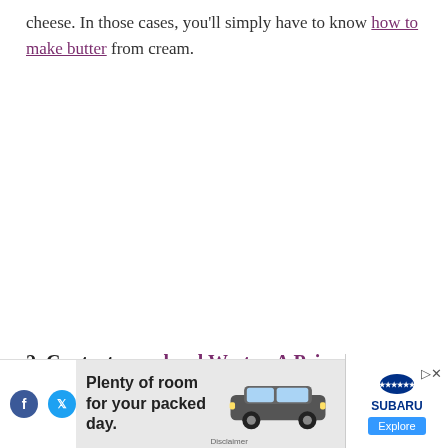cheese. In those cases, you'll simply have to know how to make butter from cream.
2. Contact your local Weston A Price chapter leader
[Figure (other): Advertisement banner for Subaru showing a grey SUV with text 'Plenty of room for your packed day.' and social media icons, Subaru logo and Explore button.]